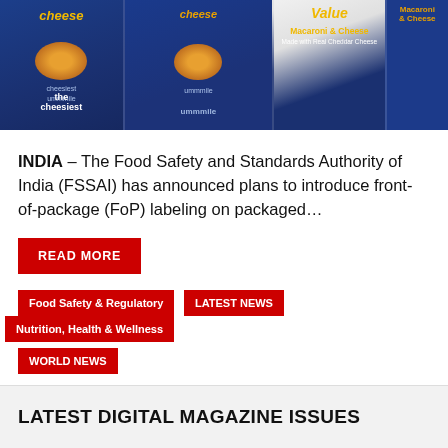[Figure (photo): Boxes of Kraft Macaroni & Cheese and Great Value Macaroni & Cheese products lined up side by side]
INDIA – The Food Safety and Standards Authority of India (FSSAI) has announced plans to introduce front-of-package (FoP) labeling on packaged…
READ MORE
Food Safety & Regulatory
LATEST NEWS
Nutrition, Health & Wellness
WORLD NEWS
LATEST DIGITAL MAGAZINE ISSUES